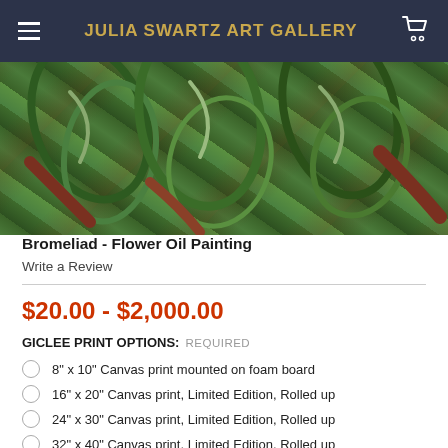JULIA SWARTZ ART GALLERY
[Figure (photo): Close-up oil painting of bromeliad/tropical leaves in green, red-brown tones with textured brushstrokes]
Bromeliad - Flower Oil Painting
Write a Review
$20.00 - $2,000.00
GICLEE PRINT OPTIONS: REQUIRED
8" x 10" Canvas print mounted on foam board
16" x 20" Canvas print, Limited Edition, Rolled up
24" x 30" Canvas print, Limited Edition, Rolled up
32" x 40" Canvas print, Limited Edition, Rolled up
40" x 50" Canvas print, Limited Edition, Rolled up